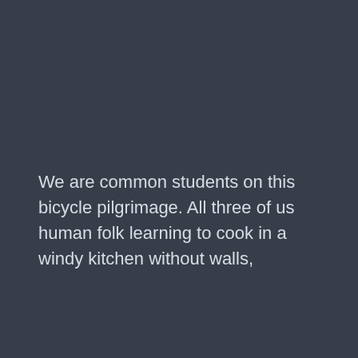We are common students on this bicycle pilgrimage. All three of us human folk learning to cook in a windy kitchen without walls,